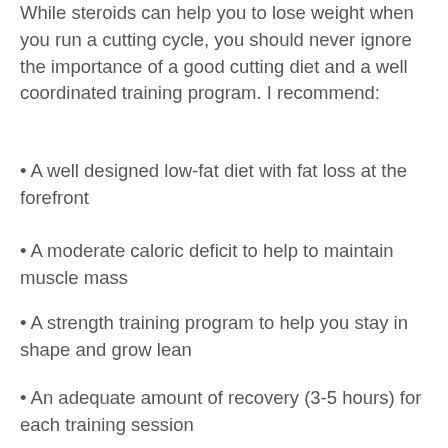While steroids can help you to lose weight when you run a cutting cycle, you should never ignore the importance of a good cutting diet and a well coordinated training program. I recommend:
A well designed low-fat diet with fat loss at the forefront
A moderate caloric deficit to help to maintain muscle mass
A strength training program to help you stay in shape and grow lean
An adequate amount of recovery (3-5 hours) for each training session
If you're interested in getting involved for the first time in your strength training journey, click here to find out more or just come down